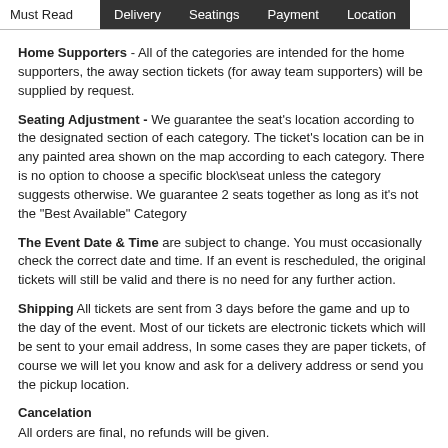Must Read | Delivery | Seatings | Payment | Location
Home Supporters - All of the categories are intended for the home supporters, the away section tickets (for away team supporters) will be supplied by request.
Seating Adjustment - We guarantee the seat's location according to the designated section of each category. The ticket's location can be in any painted area shown on the map according to each category. There is no option to choose a specific block\seat unless the category suggests otherwise. We guarantee 2 seats together as long as it's not the "Best Available" Category
The Event Date & Time are subject to change. You must occasionally check the correct date and time. If an event is rescheduled, the original tickets will still be valid and there is no need for any further action.
Shipping All tickets are sent from 3 days before the game and up to the day of the event. Most of our tickets are electronic tickets which will be sent to your email address, In some cases they are paper tickets, of course we will let you know and ask for a delivery address or send you the pickup location.
Cancelation
All orders are final, no refunds will be given.